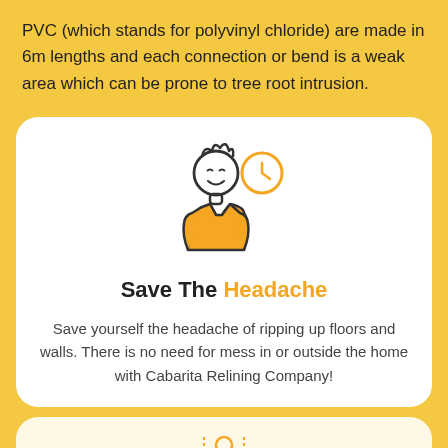PVC (which stands for polyvinyl chloride) are made in 6m lengths and each connection or bend is a weak area which can be prone to tree root intrusion.
[Figure (illustration): Cartoon illustration of a person with a clock icon, wearing an orange shirt, with a friendly expression]
Save The Headache
Save yourself the headache of ripping up floors and walls. There is no need for mess in or outside the home with Cabarita Relining Company!
[Figure (illustration): Partial illustration at bottom showing an orange device/camera with dotted lines and a circle above it]